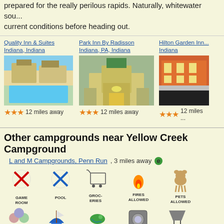prepared for the really perilous rapids. Naturally, whitewater sou... current conditions before heading out.
Quality Inn & Suites Indiana, Indiana — 12 miles away (3 stars)
Park Inn By Radisson Indiana, PA, Indiana — 12 miles away (3 stars)
Hilton Garden Inn... Indiana — 12 miles away (3 stars)
Other campgrounds near Yellow Creek Campground
L and M Campgrounds, Penn Run, 3 miles away
[Figure (infographic): Amenity icons grid: Game Room (X), Pool (X), Groceries, Fires Allowed, Pets Allowed, Attractions, Boating, Fishing, Laundry, Picnic & BBQ, Rest Rooms, RV Hookups, Showers, Store, Tent Camping]